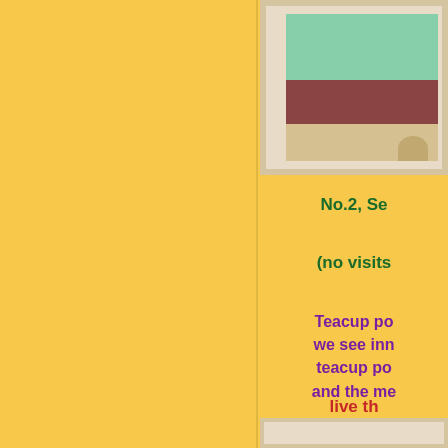[Figure (photo): Framed photograph showing an outdoor scene with buildings and a stone fountain or pillar in the foreground, with a light beige/cream decorative frame]
No.2, Se
(no visits
Teacup po we see inn teacup po and the me
live th m